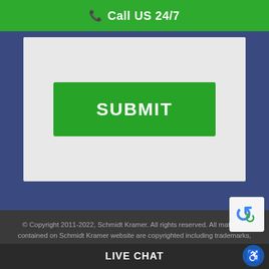📞 Call US 24/7
[Figure (screenshot): Green SUBMIT button on a light grey form background, within a dark blue section]
© Copyright 2011-2022, Schmidt Kramer. All rights reserved. All materials contained on Schmidt Kramer website are copyrighted including trademarks, and other proprietary information including the content on its blogs, the home page, and all website pages. The material contained on this website may not be copied, reproduced, modified, transmitted, displayed, or distributed without written permission of Schmidt Kramer. Any reposting, distribution, or displaying of website content on any other business website without prior written consent is a violation of copyright laws. Schmidt Kramer disclaims all liability for content maintained on other websites that are linked to this firm's website. Sitemap | Privacy Policy
LIVE CHAT